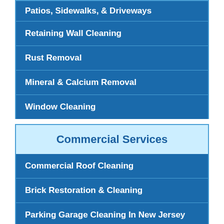Patios, Sidewalks, & Driveways
Retaining Wall Cleaning
Rust Removal
Mineral & Calcium Removal
Window Cleaning
Commercial Services
Commercial Roof Cleaning
Brick Restoration & Cleaning
Parking Garage Cleaning In New Jersey
Graffiti Removal
[Figure (logo): Company logo at bottom of page]